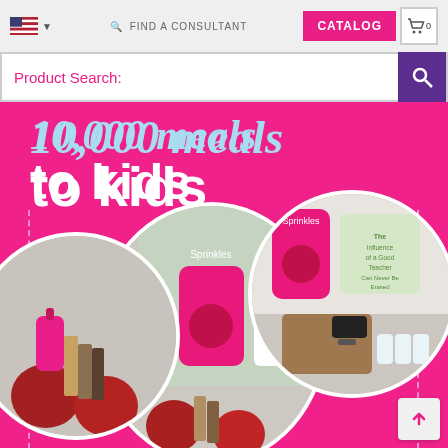[Figure (screenshot): Website screenshot showing navigation bar with US flag, Find a Consultant link, CATALOG button, and cart icon, followed by a Product Search bar, and a promotional banner on a hot-pink background reading '10,000 meals to kids' with circular product photos showing Sprinkles snack bags, hand sanitizers, apples, and teacher-themed products.]